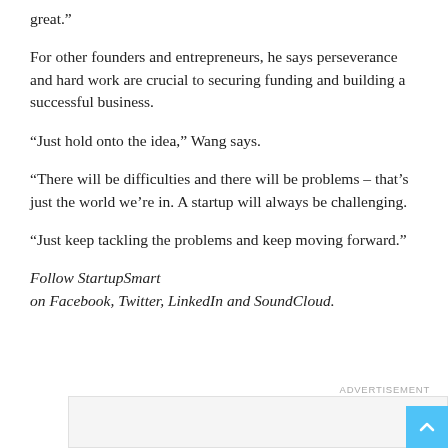great.”
For other founders and entrepreneurs, he says perseverance and hard work are crucial to securing funding and building a successful business.
“Just hold onto the idea,” Wang says.
“There will be difficulties and there will be problems – that’s just the world we’re in. A startup will always be challenging.
“Just keep tackling the problems and keep moving forward.”
Follow StartupSmart
on Facebook, Twitter, LinkedIn and SoundCloud.
ADVERTISEMENT